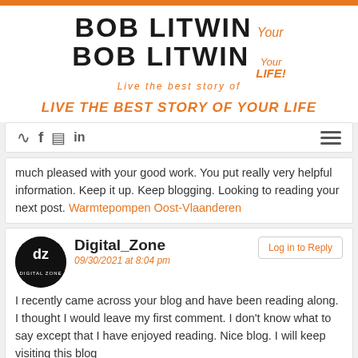[Figure (logo): Bob Litwin blog logo with tagline 'Live the best story of Your LIFE!']
LIVE THE BEST STORY OF YOUR LIFE
[Figure (other): Navigation bar with RSS, Facebook, Instagram, LinkedIn icons and hamburger menu]
much pleased with your good work. You put really very helpful information. Keep it up. Keep blogging. Looking to reading your next post. Warmtepompen Oost-Vlaanderen
Digital_Zone
09/30/2021 at 8:04 pm
I recently came across your blog and have been reading along. I thought I would leave my first comment. I don't know what to say except that I have enjoyed reading. Nice blog. I will keep visiting this blog very often.